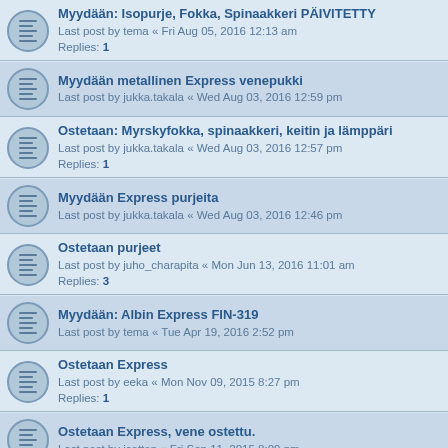Myydään: Isopurje, Fokka, Spinaakkeri PÄIVITETTY
Last post by tema « Fri Aug 05, 2016 12:13 am
Replies: 1
Myydään metallinen Express venepukki
Last post by jukka.takala « Wed Aug 03, 2016 12:59 pm
Ostetaan: Myrskyfokka, spinaakkeri, keitin ja lämppäri
Last post by jukka.takala « Wed Aug 03, 2016 12:57 pm
Replies: 1
Myydään Express purjeita
Last post by jukka.takala « Wed Aug 03, 2016 12:46 pm
Ostetaan purjeet
Last post by juho_charapita « Mon Jun 13, 2016 11:01 am
Replies: 3
Myydään: Albin Express FIN-319
Last post by tema « Tue Apr 19, 2016 2:52 pm
Ostetaan Express
Last post by eeka « Mon Nov 09, 2015 8:27 pm
Replies: 1
Ostetaan Express, vene ostettu.
Last post by jcotton « Fri Sep 11, 2015 8:09 pm
Ostetaan pinna
Last post by Olli « Sat Aug 29, 2015 12:38 pm
Spinaakkerin puomi / tai sopiva päätyhela ?
Last post by pietro « Mon Jul 20, 2015 8:19 am